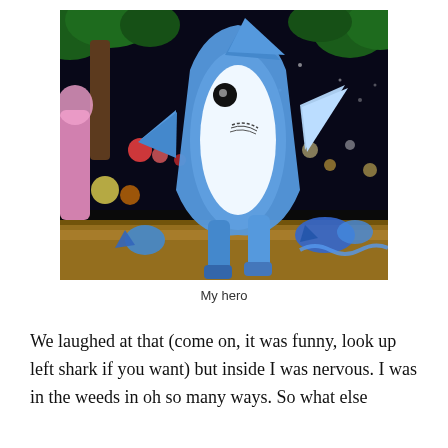[Figure (photo): A person in a blue shark costume performing on a stage with colorful lights and decorations in the background. The shark character is standing upright, facing the camera, on what appears to be a performance stage.]
My hero
We laughed at that (come on, it was funny, look up left shark if you want) but inside I was nervous. I was in the weeds in oh so many ways. So what else